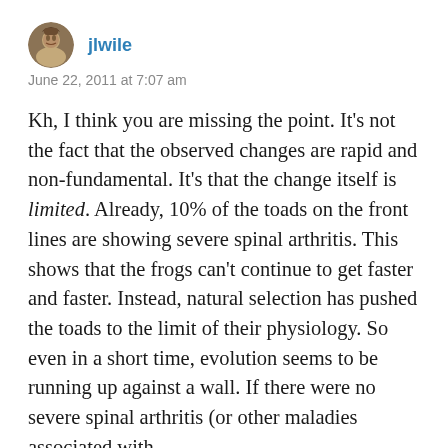[Figure (photo): Small circular avatar photo of a person, appears to be a historical portrait illustration]
jlwile
June 22, 2011 at 7:07 am
Kh, I think you are missing the point. It's not the fact that the observed changes are rapid and non-fundamental. It's that the change itself is limited. Already, 10% of the toads on the front lines are showing severe spinal arthritis. This shows that the frogs can't continue to get faster and faster. Instead, natural selection has pushed the toads to the limit of their physiology. So even in a short time, evolution seems to be running up against a wall. If there were no severe spinal arthritis (or other maladies associated with